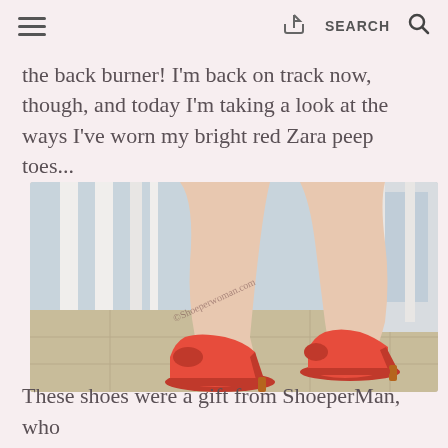≡  [share icon]  SEARCH  [search icon]
the back burner! I'm back on track now, though, and today I'm taking a look at the ways I've worn my bright red Zara peep toes...
[Figure (photo): Close-up photo of a woman's legs wearing bright red Zara peep-toe platform high heels, standing on a tiled floor with white railing in the background. Watermark reads '©Shoeperwoman.com']
These shoes were a gift from ShoeperMan, who